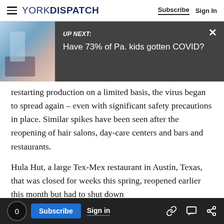YORK DISPATCH | Subscribe  Sign In
[Figure (screenshot): UP NEXT banner with photo of person receiving injection and headline: Have 73% of Pa. kids gotten COVID?]
restarting production on a limited basis, the virus began to spread again – even with significant safety precautions in place. Similar spikes have been seen after the reopening of hair salons, day-care centers and bars and restaurants.
Hula Hut, a large Tex-Mex restaurant in Austin, Texas, that was closed for weeks this spring, reopened earlier this month but had to shut down
0  Subscribe  Sign in